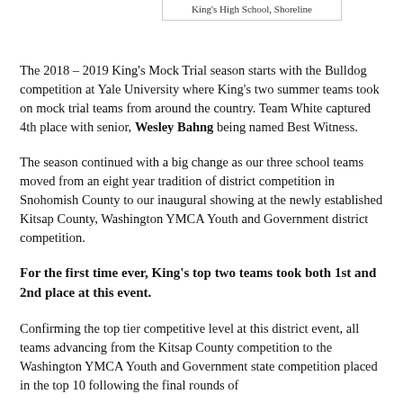King's High School, Shoreline
The 2018 – 2019 King's Mock Trial season starts with the Bulldog competition at Yale University where King's two summer teams took on mock trial teams from around the country. Team White captured 4th place with senior, Wesley Bahng being named Best Witness.
The season continued with a big change as our three school teams moved from an eight year tradition of district competition in Snohomish County to our inaugural showing at the newly established Kitsap County, Washington YMCA Youth and Government district competition.
For the first time ever, King's top two teams took both 1st and 2nd place at this event.
Confirming the top tier competitive level at this district event, all teams advancing from the Kitsap County competition to the Washington YMCA Youth and Government state competition placed in the top 10 following the final rounds of